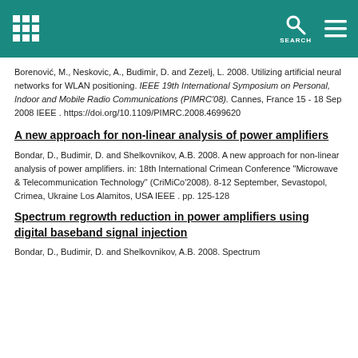SEARCH
Borenović, M., Neskovic, A., Budimir, D. and Zezelj, L. 2008. Utilizing artificial neural networks for WLAN positioning. IEEE 19th International Symposium on Personal, Indoor and Mobile Radio Communications (PIMRC'08). Cannes, France 15 - 18 Sep 2008 IEEE . https://doi.org/10.1109/PIMRC.2008.4699620
A new approach for non-linear analysis of power amplifiers
Bondar, D., Budimir, D. and Shelkovnikov, A.B. 2008. A new approach for non-linear analysis of power amplifiers. in: 18th International Crimean Conference "Microwave & Telecommunication Technology" (CriMiCo'2008). 8-12 September, Sevastopol, Crimea, Ukraine Los Alamitos, USA IEEE . pp. 125-128
Spectrum regrowth reduction in power amplifiers using digital baseband signal injection
Bondar, D., Budimir, D. and Shelkovnikov, A.B. 2008. Spectrum